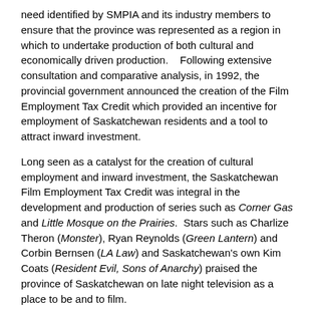need identified by SMPIA and its industry members to ensure that the province was represented as a region in which to undertake production of both cultural and economically driven production.    Following extensive consultation and comparative analysis, in 1992, the provincial government announced the creation of the Film Employment Tax Credit which provided an incentive for employment of Saskatchewan residents and a tool to attract inward investment.
Long seen as a catalyst for the creation of cultural employment and inward investment, the Saskatchewan Film Employment Tax Credit was integral in the development and production of series such as Corner Gas and Little Mosque on the Prairies.  Stars such as Charlize Theron (Monster), Ryan Reynolds (Green Lantern) and Corbin Bernsen (LA Law) and Saskatchewan's own Kim Coats (Resident Evil, Sons of Anarchy) praised the province of Saskatchewan on late night television as a place to be and to film.
“Quite frankly, without the tax incentive program the province will be seen as an irrelevant location and production will not take place,” says Vanessa Bonk, Executive Director of SMPIA.  “The production volumes of over $623 million since inception resulted in an immense amount of inward investment of, on average 74%, and considerable employment, which will all cease to exist.  Should the government proceed with this decision, rebuilding to provide both cultural and economic impacts is unimaginable.”
Included in the many benefits the industry communicates itself as